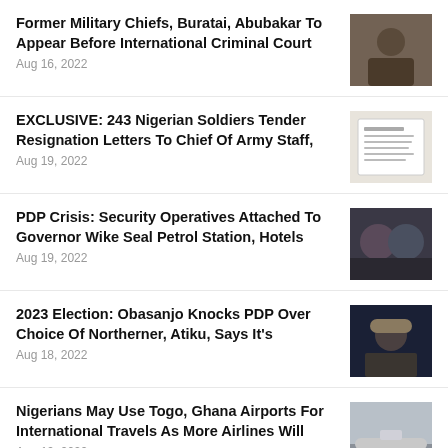Former Military Chiefs, Buratai, Abubakar To Appear Before International Criminal Court
Aug 16, 2022
EXCLUSIVE: 243 Nigerian Soldiers Tender Resignation Letters To Chief Of Army Staff,
Aug 19, 2022
PDP Crisis: Security Operatives Attached To Governor Wike Seal Petrol Station, Hotels
Aug 19, 2022
2023 Election: Obasanjo Knocks PDP Over Choice Of Northerner, Atiku, Says It's
Aug 18, 2022
Nigerians May Use Togo, Ghana Airports For International Travels As More Airlines Will
Aug 19, 2022
Nigerian Police Rescue Suspected Terrorist Disguised As Woman From Maiduguri